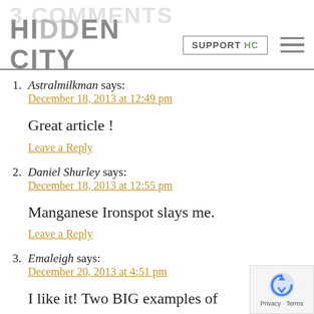HIDDEN CITY | SUPPORT HC
1. Astralmilkman says:
December 18, 2013 at 12:49 pm

Great article !

Leave a Reply
2. Daniel Shurley says:
December 18, 2013 at 12:55 pm

Manganese Ironspot slays me.

Leave a Reply
3. Emaleigh says:
December 20, 2013 at 4:51 pm

I like it! Two BIG examples of